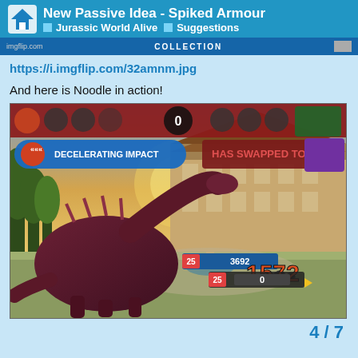New Passive Idea - Spiked Armour | Jurassic World Alive | Suggestions
COLLECTION
https://i.imgflip.com/32amnm.jpg
And here is Noodle in action!
[Figure (screenshot): Jurassic World Alive game screenshot showing a large spiked dinosaur (Noodle) in battle. The UI shows: level 25 with 3692 HP, a score of 1572 in orange, opponent level 25 with 0 HP, move button 'DECELERATING IMPACT' on left, 'HAS SWAPPED TO' notification on right with a purple dinosaur icon, score of 0 in center top. Background shows a manor/building with gardens.]
4 / 7